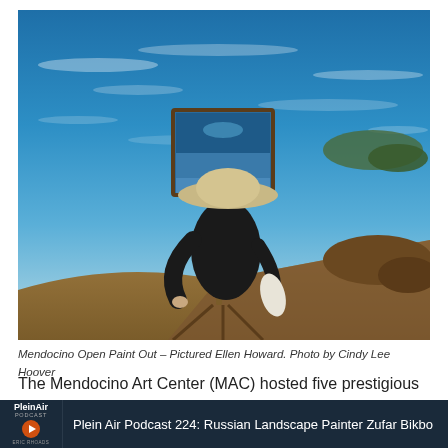[Figure (photo): An artist in a black long-sleeve shirt and wide-brim hat painting a seascape on an easel/tripod on a rocky coastal cliff, with blue ocean waves and rocks visible behind them. The painting on the easel mirrors the ocean scene.]
Mendocino Open Paint Out – Pictured Ellen Howard. Photo by Cindy Lee Hoover
The Mendocino Art Center (MAC) hosted five prestigious featured artists and 62 participating artists, visiting from Idaho, Illinois, Maryland, Nevada, and Oregon as well as from
Plein Air Podcast 224: Russian Landscape Painter Zufar Bikbo